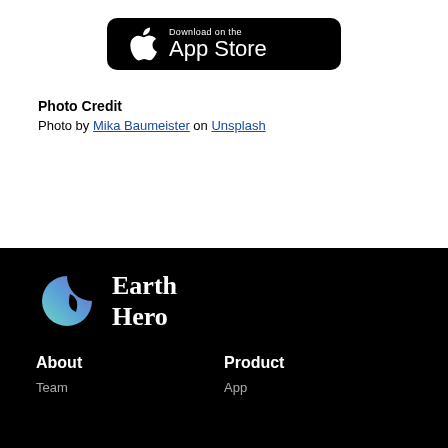[Figure (logo): Download on the App Store badge button (black rounded rectangle with Apple logo)]
Photo Credit
Photo by Mika Baumeister on Unsplash
[Figure (logo): Earth Hero logo — circular gradient icon (blue/green/teal) with leaf cutout, next to bold serif text 'Earth Hero']
About
Team
Product
App